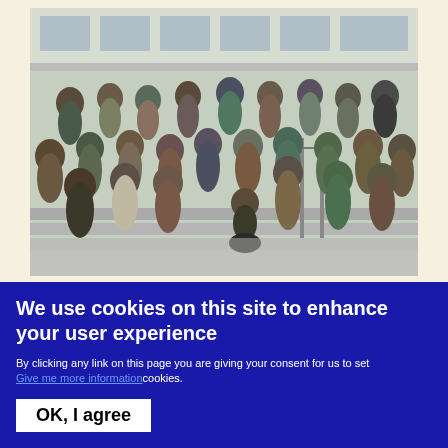[Figure (photo): Group photo of approximately 30 people standing on outdoor steps in front of a building, many holding drinks, casually dressed.]
We use cookies on this site to enhance your user experience
By clicking any link on this page you are giving your consent for us to set
Give me more information cookies.
OK, I agree